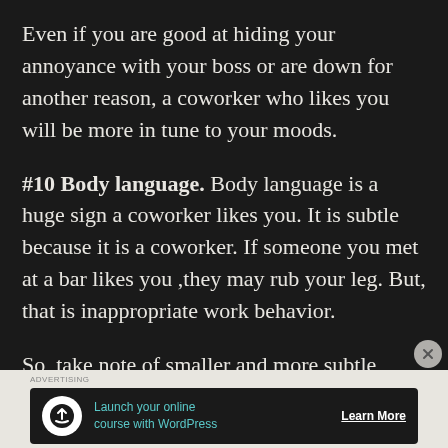Even if you are good at hiding your annoyance with your boss or are down for another reason, a coworker who likes you will be more in tune to your moods.
#10 Body language. Body language is a huge sign a coworker likes you. It is subtle because it is a coworker. If someone you met at a bar likes you ,they may rub your leg. But, that is inappropriate work behavior.
So, take note of smaller and more subtle signs of body language. Do they hug you and linger?
[Figure (infographic): Advertisement banner for launching an online course with WordPress. Shows a house/upload icon, teal text 'Launch your online course with WordPress', and a 'Learn More' call-to-action button.]